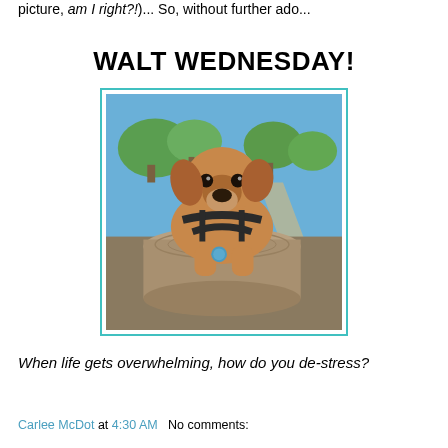picture, am I right?!)... So, without further ado...
WALT WEDNESDAY!
[Figure (photo): A brown dog (dachshund mix) wearing a black harness and blue tag, sitting on top of a large tree stump in a park with blue sky and trees in the background.]
When life gets overwhelming, how do you de-stress?
Carlee McDot at 4:30 AM   No comments: